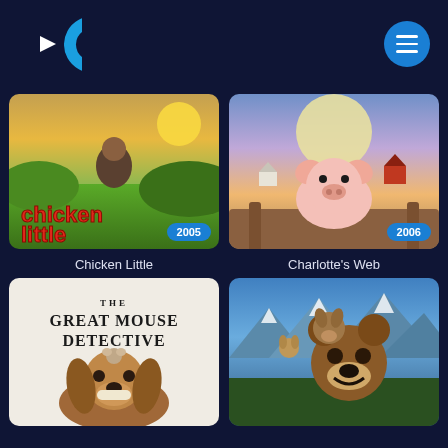[Figure (logo): Crackle streaming service logo - blue C shape with white triangle play button]
[Figure (screenshot): Chicken Little movie poster - animated film from 2005. Shows character standing in field with red text title. Year badge: 2005]
Chicken Little
[Figure (screenshot): Charlotte's Web movie poster - animated piglet in farm setting. Year badge: 2006]
Charlotte's Web
[Figure (screenshot): The Great Mouse Detective movie poster - classic Disney animated film]
[Figure (screenshot): Open Season movie poster - animated bears in mountain setting]